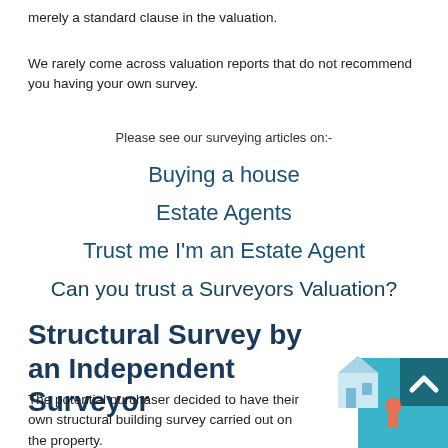merely a standard clause in the valuation.
We rarely come across valuation reports that do not recommend you having your own survey.
Please see our surveying articles on:-
Buying a house
Estate Agents
Trust me I'm an Estate Agent
Can you trust a Surveyors Valuation?
Structural Survey by an Independent Surveyor
The potential purchaser decided to have their own structural building survey carried out on the property.
[Figure (illustration): Illustration of houses with arrows, teal/blue background with a scroll-to-top button overlay]